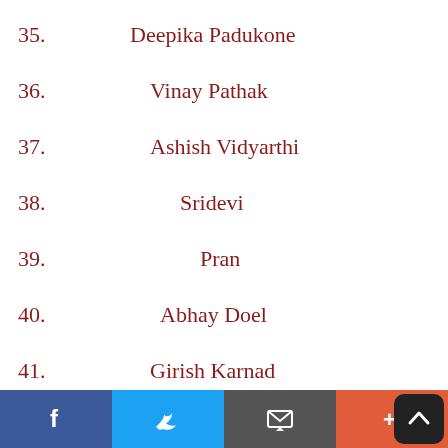35.   Deepika Padukone
36.   Vinay Pathak
37.   Ashish Vidyarthi
38.   Sridevi
39.   Pran
40.   Abhay Doel
41.   Girish Karnad
Social share bar with Facebook, Twitter, Email, and More buttons